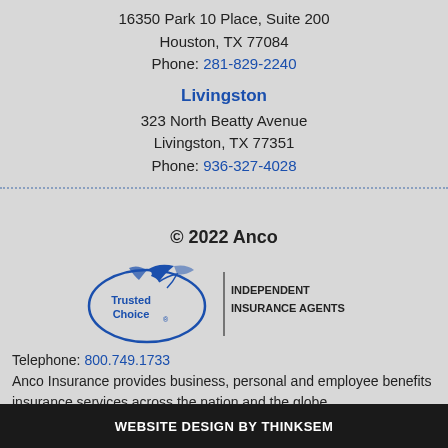16350 Park 10 Place, Suite 200
Houston, TX 77084
Phone: 281-829-2240
Livingston
323 North Beatty Avenue
Livingston, TX 77351
Phone: 936-327-4028
© 2022 Anco
[Figure (logo): Trusted Choice Independent Insurance Agents logo with bird/eagle graphic and vertical divider]
Telephone: 800.749.1733
Anco Insurance provides business, personal and employee benefits insurance services across the nation and the globe.
WEBSITE DESIGN BY THINKSEM